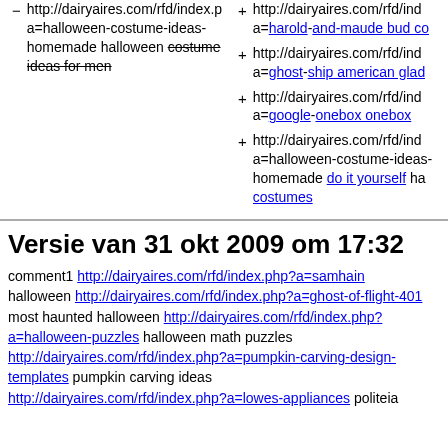- http://dairyaires.com/rfd/index.php?a=halloween-costume-ideas-homemade halloween costume ideas for men (strikethrough on 'costume ideas for men')
+ http://dairyaires.com/rfd/index.php?a=harold-and-maude bud co (truncated) harold-and-maude bud co
+ http://dairyaires.com/rfd/index.php?a=ghost-ship american glad (truncated)
+ http://dairyaires.com/rfd/index.php?a=google-onebox onebox
+ http://dairyaires.com/rfd/index.php?a=halloween-costume-ideas homemade do it yourself halloween costumes
Versie van 31 okt 2009 om 17:32
comment1 http://dairyaires.com/rfd/index.php?a=samhain halloween http://dairyaires.com/rfd/index.php?a=ghost-of-flight-401 most haunted halloween http://dairyaires.com/rfd/index.php?a=halloween-puzzles halloween math puzzles http://dairyaires.com/rfd/index.php?a=pumpkin-carving-design-templates pumpkin carving ideas http://dairyaires.com/rfd/index.php?a=lowes-appliances politeia